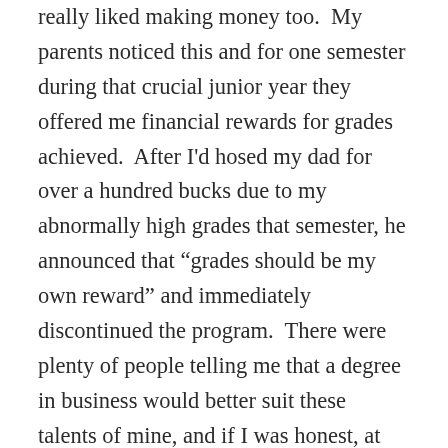really liked making money too.  My parents noticed this and for one semester during that crucial junior year they offered me financial rewards for grades achieved.  After I'd hosed my dad for over a hundred bucks due to my abnormally high grades that semester, he announced that “grades should be my own reward” and immediately discontinued the program.  There were plenty of people telling me that a degree in business would better suit these talents of mine, and if I was honest, at the time I knew they were probably right.  I was great in my non-science subjects, I could mail it in on papers and still get an A, and I knew that diligence, attention to detail, and math were weaknesses.  Getting a business degree would be stupidly easy.  Getting a computer science...